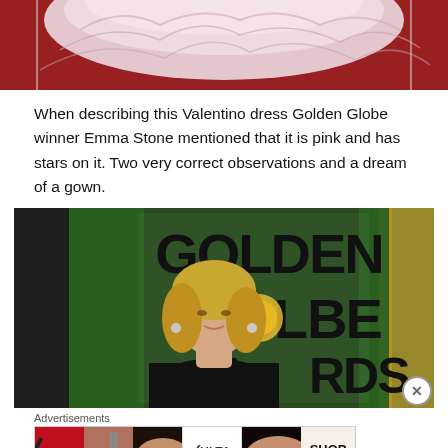[Figure (photo): Top portion of a pink/white Valentino gown on a red carpet background]
When describing this Valentino dress Golden Globe winner Emma Stone mentioned that it is pink and has stars on it. Two very correct observations and a dream of a gown.
[Figure (photo): A woman with blonde hair standing in front of Golden Globe Awards signage, wearing a black sequined jacket]
Advertisements
[Figure (photo): Advertisement banner showing makeup images (lips, brush, eye makeup), ULTA Beauty logo, more eye makeup, and SHOP NOW text]